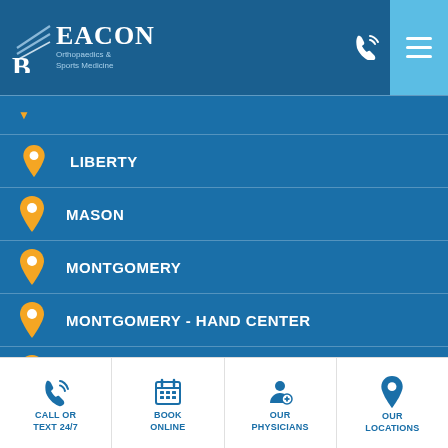Beacon Orthopaedics & Sports Medicine
LIBERTY
MASON
MONTGOMERY
MONTGOMERY - HAND CENTER
OXFORD
SOUTH LEBANON (PHYSICAL THERAPY ONLY)
CALL OR TEXT 24/7 | BOOK ONLINE | OUR PHYSICIANS | OUR LOCATIONS